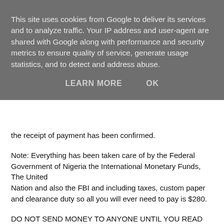[Figure (screenshot): Cookie consent overlay banner with gray semi-transparent background. Text reads: 'This site uses cookies from Google to deliver its services and to analyze traffic. Your IP address and user-agent are shared with Google along with performance and security metrics to ensure quality of service, generate usage statistics, and to detect and address abuse.' Two buttons: 'LEARN MORE' and 'OK'.]
the receipt of payment has been confirmed.
Note: Everything has been taken care of by the Federal Government of Nigeria the International Monetary Funds, The United Nation and also the FBI and including taxes, custom paper and clearance duty so all you will ever need to pay is $280.
DO NOT SEND MONEY TO ANYONE UNTIL YOU READ THIS: The actual fees for shipping your ATM card is $420 but because UPS have temporarily discontinued the C.O.D which gives you the chance to pay when package is delivered for international shipping We
had to sign a contract with therofessional shipping which...